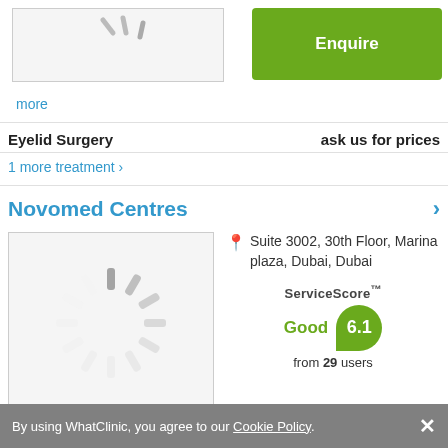[Figure (photo): Clinic or procedure image thumbnail, partially visible at top]
Enquire
more
Eyelid Surgery   ask us for prices
1 more treatment >
Novomed Centres
[Figure (photo): Loading spinner / clinic image loading]
Suite 3002, 30th Floor, Marina plaza, Dubai, Dubai
ServiceScore™ Good 6.1 from 29 users
By using WhatClinic, you agree to our Cookie Policy.